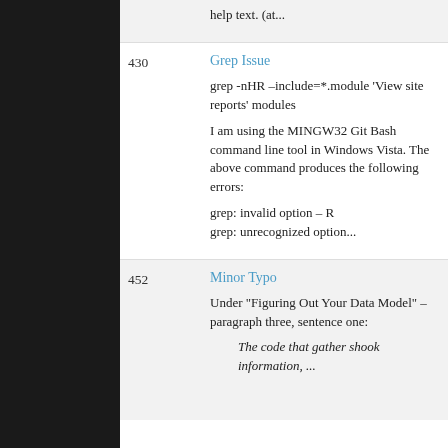help text. (at...
430
Grep Issue
grep -nHR –include=*.module 'View site reports' modules
I am using the MINGW32 Git Bash command line tool in Windows Vista. The above command produces the following errors:
grep: invalid option – R
grep: unrecognized option...
452
Minor Typo
Under "Figuring Out Your Data Model" – paragraph three, sentence one:
The code that gather shook information, ...